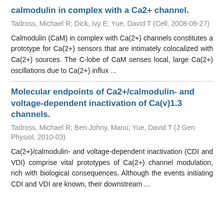calmodulin in complex with a Ca2+ channel.
Tadross, Michael R; Dick, Ivy E; Yue, David T (Cell, 2008-06-27)
Calmodulin (CaM) in complex with Ca(2+) channels constitutes a prototype for Ca(2+) sensors that are intimately colocalized with Ca(2+) sources. The C-lobe of CaM senses local, large Ca(2+) oscillations due to Ca(2+) influx ...
Molecular endpoints of Ca2+/calmodulin- and voltage-dependent inactivation of Ca(v)1.3 channels.
Tadross, Michael R; Ben Johny, Manu; Yue, David T (J Gen Physiol, 2010-03)
Ca(2+)/calmodulin- and voltage-dependent inactivation (CDI and VDI) comprise vital prototypes of Ca(2+) channel modulation, rich with biological consequences. Although the events initiating CDI and VDI are known, their downstream ...